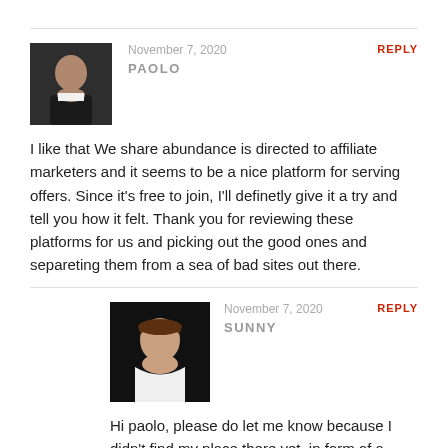November 7, 2020
PAOLO
REPLY
I like that We share abundance is directed to affiliate marketers and it seems to be a nice platform for serving offers. Since it's free to join, I'll definetly give it a try and tell you how it felt. Thank you for reviewing these platforms for us and picking out the good ones and separeting them from a sea of bad sites out there.
November 7, 2020
SUNNY
REPLY
Hi paolo, please do let me know because I didn't find my place there yet, in form of a value of the program for making income. For now, it seems to be a nice start and...